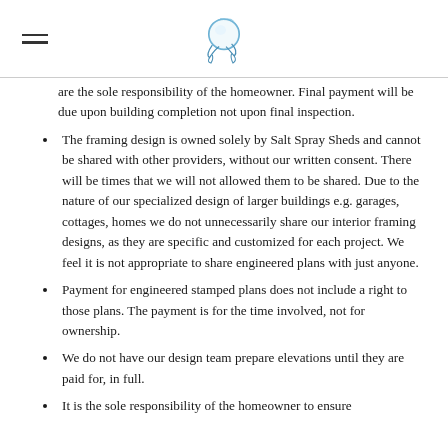[Salt Spray Sheds logo]
are the sole responsibility of the homeowner. Final payment will be due upon building completion not upon final inspection.
The framing design is owned solely by Salt Spray Sheds and cannot be shared with other providers, without our written consent. There will be times that we will not allowed them to be shared. Due to the nature of our specialized design of larger buildings e.g. garages, cottages, homes we do not unnecessarily share our interior framing designs, as they are specific and customized for each project. We feel it is not appropriate to share engineered plans with just anyone.
Payment for engineered stamped plans does not include a right to those plans. The payment is for the time involved, not for ownership.
We do not have our design team prepare elevations until they are paid for, in full.
It is the sole responsibility of the homeowner to ensure...